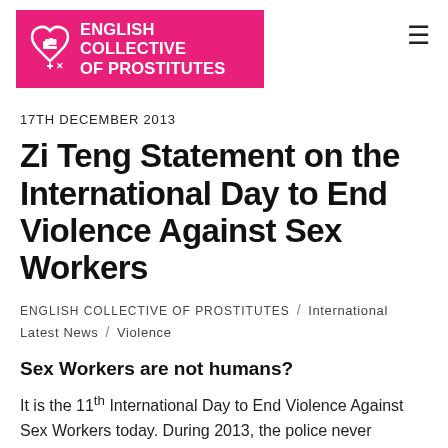ENGLISH COLLECTIVE OF PROSTITUTES
17TH DECEMBER 2013
Zi Teng Statement on the International Day to End Violence Against Sex Workers
ENGLISH COLLECTIVE OF PROSTITUTES / International Latest News / Violence
Sex Workers are not humans?
It is the 11th International Day to End Violence Against Sex Workers today. During 2013, the police never